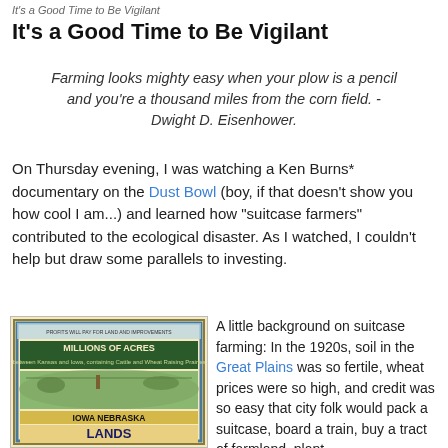It's a Good Time to Be Vigilant
It's a Good Time to Be Vigilant
Farming looks mighty easy when your plow is a pencil and you're a thousand miles from the corn field. - Dwight D. Eisenhower.
On Thursday evening, I was watching a Ken Burns* documentary on the Dust Bowl (boy, if that doesn't show you how cool I am...) and learned how "suitcase farmers" contributed to the ecological disaster. As I watched, I couldn't help but draw some parallels to investing.
[Figure (photo): Vintage promotional poster showing 'Millions of Acres' and 'Iowa Nebraska Lands' with an illustration of farmland and text about land for sale.]
A little background on suitcase farming: In the 1920s, soil in the Great Plains was so fertile, wheat prices were so high, and credit was so easy that city folk would pack a suitcase, board a train, buy a tract of farmland, plant